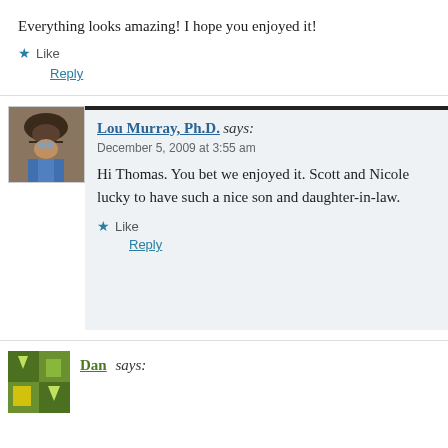Everything looks amazing! I hope you enjoyed it!
★ Like
Reply
Lou Murray, Ph.D. says:
December 5, 2009 at 3:55 am
Hi Thomas. You bet we enjoyed it. Scott and Nicole lucky to have such a nice son and daughter-in-law.
★ Like
Reply
Dan says: